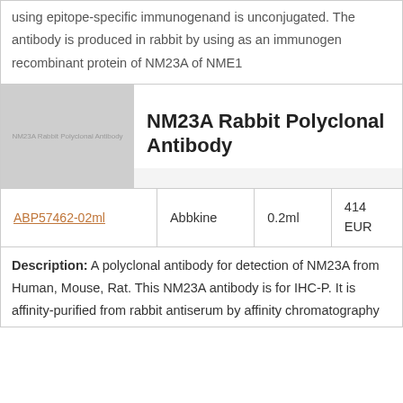using epitope-specific immunogenand is unconjugated. The antibody is produced in rabbit by using as an immunogen recombinant protein of NM23A of NME1
[Figure (photo): Product image placeholder for NM23A Rabbit Polyclonal Antibody, grey square with text label]
NM23A Rabbit Polyclonal Antibody
| Product ID | Supplier | Volume | Price |
| --- | --- | --- | --- |
| ABP57462-02ml | Abbkine | 0.2ml | 414 EUR |
Description: A polyclonal antibody for detection of NM23A from Human, Mouse, Rat. This NM23A antibody is for IHC-P. It is affinity-purified from rabbit antiserum by affinity chromatography